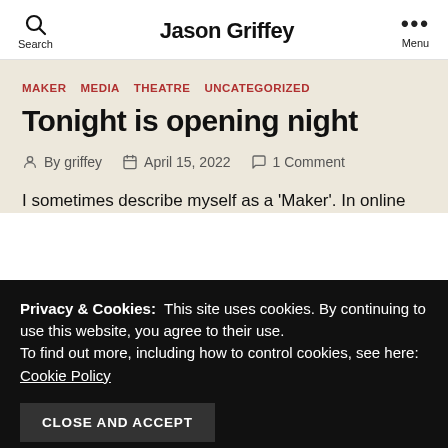Jason Griffey
MAKER  MEDIA  THEATRE  UNCATEGORIZED
Tonight is opening night
By griffey  April 15, 2022  1 Comment
I sometimes describe myself as a 'Maker'. In online
Privacy & Cookies:  This site uses cookies. By continuing to use this website, you agree to their use.
To find out more, including how to control cookies, see here: Cookie Policy
CLOSE AND ACCEPT
figures and put the head of one on the body of another